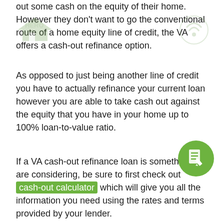out some cash on the equity of their home. However they don't want to go the conventional route of a home equity line of credit, the VA offers a cash-out refinance option.
As opposed to just being another line of credit you have to actually refinance your current loan however you are able to take cash out against the equity that you have in your home up to 100% loan-to-value ratio.
If a VA cash-out refinance loan is something you are considering, be sure to first check out cash-out calculator which will give you all the information you need using the rates and terms provided by your lender.